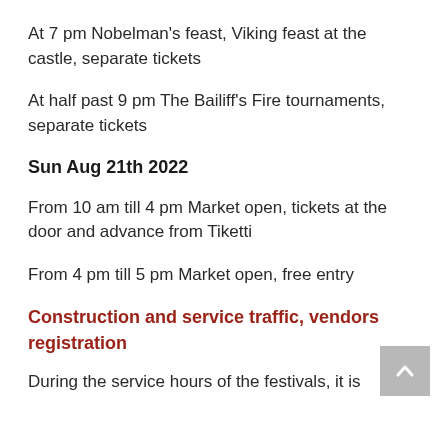At 7 pm Nobelman’s feast, Viking feast at the castle, separate tickets
At half past 9 pm The Bailiff’s Fire tournaments, separate tickets
Sun Aug 21th 2022
From 10 am till 4 pm Market open, tickets at the door and advance from Tiketti
From 4 pm till 5 pm Market open, free entry
Construction and service traffic, vendors registration
During the service hours of the festivals, it is